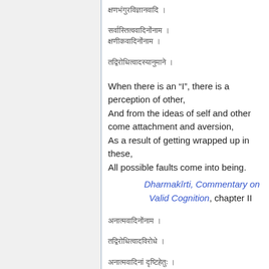Sanskrit verse line 1
Sanskrit verse lines 2-3
Sanskrit verse line 4
When there is an “I”, there is a perception of other,
And from the ideas of self and other come attachment and aversion,
As a result of getting wrapped up in these,
All possible faults come into being.
Dharmakīrti, Commentary on Valid Cognition, chapter II
Sanskrit verse line 5
Sanskrit verse line 6
Sanskrit verse line 7